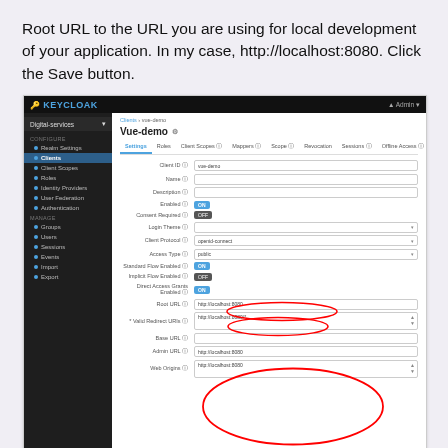Root URL to the URL you are using for local development of your application. In my case, http://localhost:8080. Click the Save button.
[Figure (screenshot): Keycloak admin console screenshot showing the Vue-demo client settings page with fields for Client ID, Name, Description, Enabled (ON), Consent Required (OFF), Login Theme, Client Protocol (openid-connect, circled), Access Type (public, circled), Standard Flow Enabled (ON), Implicit Flow Enabled (OFF), Direct Access Grants Enabled (ON), Root URL, Valid Redirect URIs, Base URL, Admin URL, Web Origins. The bottom fields have a red circle highlighting them.]
Figure 5: Set the client details